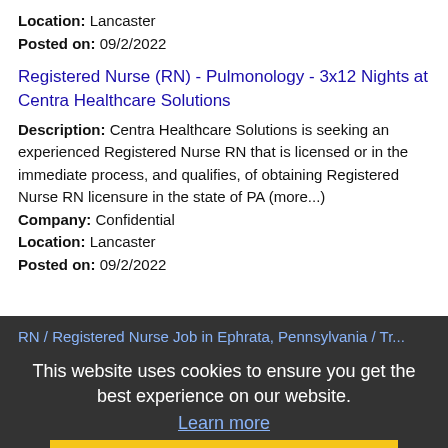Location: Lancaster
Posted on: 09/2/2022
Registered Nurse (RN) - Pulmonology - 3x12 Nights at Centra Healthcare Solutions
Description: Centra Healthcare Solutions is seeking an experienced Registered Nurse RN that is licensed or in the immediate process, and qualifies, of obtaining Registered Nurse RN licensure in the state of PA (more...)
Company: Confidential
Location: Lancaster
Posted on: 09/2/2022
RN / Registered Nurse Job in Ephrata, Pennsylvania / Tr...
Description: Registered Nurse RN / Travel (NeonatalRegistered Nurse - Neonatal - Travel - PAAt MAS Medical Staffing,
Company: MAS Medic...
Location: Lancaster
Posted on: 09/2/2022
This website uses cookies to ensure you get the best experience on our website.
Learn more
Got it!
Dermatology Physician Dermatologist MOHS Surgery - Physicians Only Apply - Perm
Description: A Dermatology Physician Dermatologist MOHS